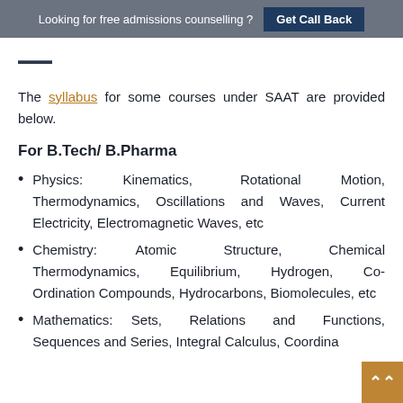Looking for free admissions counselling ? Get Call Back
SAAT Syllabus 2023 (partial)
The syllabus for some courses under SAAT are provided below.
For B.Tech/ B.Pharma
Physics: Kinematics, Rotational Motion, Thermodynamics, Oscillations and Waves, Current Electricity, Electromagnetic Waves, etc
Chemistry: Atomic Structure, Chemical Thermodynamics, Equilibrium, Hydrogen, Co-Ordination Compounds, Hydrocarbons, Biomolecules, etc
Mathematics: Sets, Relations and Functions, Sequences and Series, Integral Calculus, Coordina...